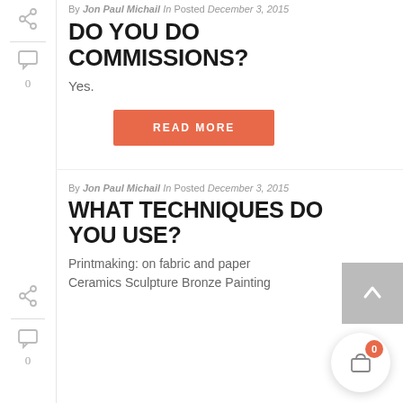By Jon Paul Michail In Posted December 3, 2015
DO YOU DO COMMISSIONS?
Yes.
READ MORE
By Jon Paul Michail In Posted December 3, 2015
WHAT TECHNIQUES DO YOU USE?
Printmaking: on fabric and paper Ceramics Sculpture Bronze Painting